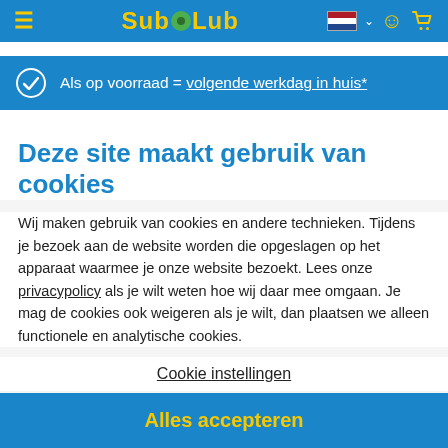SubLub — navigation bar with logo, hamburger menu, Dutch flag, and cart icon
Als op voorraad = volgende werkdag in huis*
Deze site maakt gebruik van cookies
Wij maken gebruik van cookies en andere technieken. Tijdens je bezoek aan de website worden die opgeslagen op het apparaat waarmee je onze website bezoekt. Lees onze privacypolicy als je wilt weten hoe wij daar mee omgaan. Je mag de cookies ook weigeren als je wilt, dan plaatsen we alleen functionele en analytische cookies.
Cookie instellingen
Alles accepteren